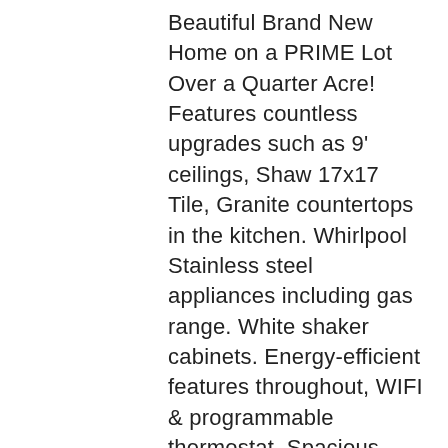Beautiful Brand New Home on a PRIME Lot Over a Quarter Acre! Features countless upgrades such as 9' ceilings, Shaw 17x17 Tile, Granite countertops in the kitchen. Whirlpool Stainless steel appliances including gas range. White shaker cabinets. Energy-efficient features throughout, WIFI & programmable thermostat. Spacious walk-in closet in owners suite. Front yard landscaping, covered patio in the backyard. Spectacular Mountain Views! Minutes from Verrado in a master-planned community featuring greenbelt, neighborhood park with playground, and soccer field. Conveniently located near the I-10 and 303, top-rated schools, shopping and dining! Walking